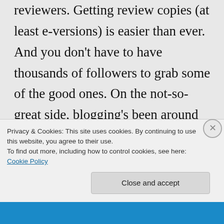reviewers. Getting review copies (at least e-versions) is easier than ever. And you don't have to have thousands of followers to grab some of the good ones. On the not-so-great side, blogging's been around long enough that people are getting burned out. Lots of my favorite bloggers have stopped posting in recent years. That makes me sad. I also miss getting publishers' thick
Privacy & Cookies: This site uses cookies. By continuing to use this website, you agree to their use.
To find out more, including how to control cookies, see here: Cookie Policy
Close and accept